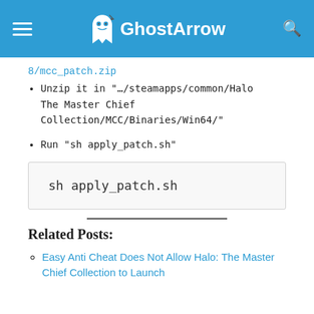GhostArrow
8/mcc_patch.zip
Unzip it in "…/steamapps/common/Halo The Master Chief Collection/MCC/Binaries/Win64/"
Run "sh apply_patch.sh"
sh apply_patch.sh
Related Posts:
Easy Anti Cheat Does Not Allow Halo: The Master Chief Collection to Launch